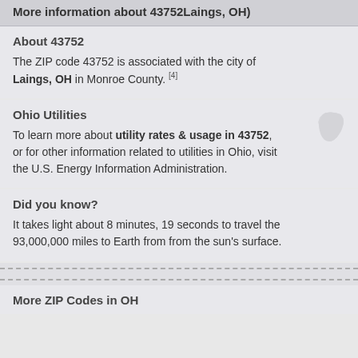More information about 43752Laings, OH)
About 43752
The ZIP code 43752 is associated with the city of Laings, OH in Monroe County. [4]
Ohio Utilities
To learn more about utility rates & usage in 43752, or for other information related to utilities in Ohio, visit the U.S. Energy Information Administration.
Did you know?
It takes light about 8 minutes, 19 seconds to travel the 93,000,000 miles to Earth from from the sun's surface.
More ZIP Codes in OH